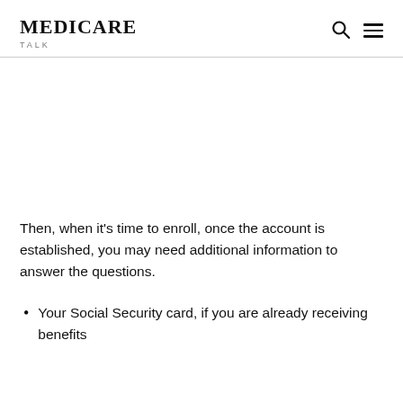MEDICARE TALK
Then, when it’s time to enroll, once the account is established, you may need additional information to answer the questions.
Your Social Security card, if you are already receiving benefits